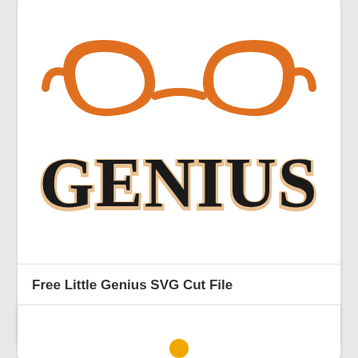[Figure (illustration): Illustration of orange-framed nerd glasses above the bold text 'GENIUS' in black with orange outline, part of a 'Little Genius' SVG cut file design]
Free Little Genius SVG Cut File
Free
Download